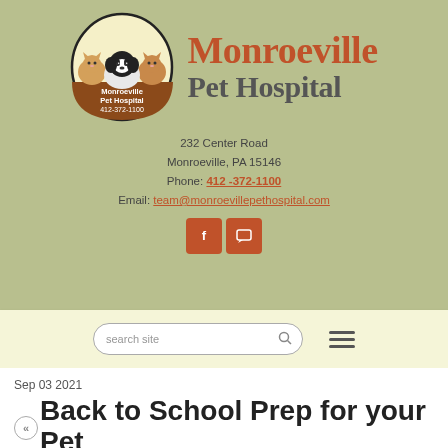[Figure (logo): Monroeville Pet Hospital circular logo with cartoon dogs and cats illustration, brown lower half with text 'Monroeville Pet Hospital 412-372-1100']
Monroeville Pet Hospital
232 Center Road
Monroeville, PA 15146
Phone: 412-372-1100
Email: team@monroevillepethospital.com
Sep 03 2021
Back to School Prep for your Pet
Home » News » Back To School Prep For Your Pet 2